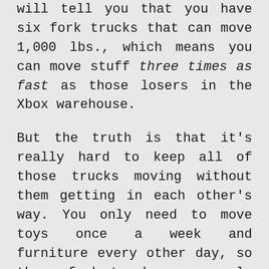will tell you that you have six fork trucks that can move 1,000 lbs., which means you can move stuff three times as fast as those losers in the Xbox warehouse.
But the truth is that it's really hard to keep all of those trucks moving without them getting in each other's way. You only need to move toys once a week and furniture every other day, so those fork trucks are rarely used. The restrictions on what each truck can carry imposes restrictions on how you can lay out your goods. For example, popular things like consumer electronics and kitchen appliances can't be stored on the same aisle or the trucks would block each other, so one of them has to be moved to a less-optimal location. And finally,